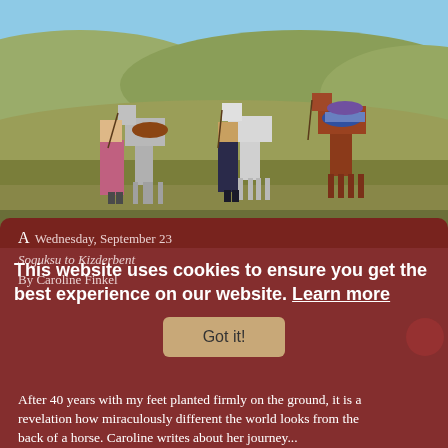[Figure (photo): Two people standing with three horses (one grey, one white, one brown/chestnut) on an open grassy hillside with rolling hills and blue sky in the background.]
A
Wednesday, September 23
Soguksu to Kizderbent
By Caroline Finkel
This website uses cookies to ensure you get the best experience on our website. Learn more
Got it!
After 40 years with my feet planted firmly on the ground, it is a revelation how miraculously different the world looks from the back of a horse. Caroline writes about her journey...